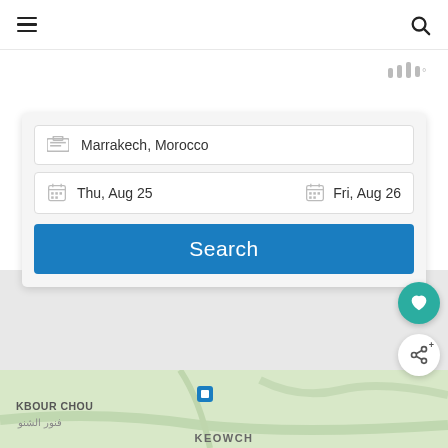≡  🔍
[Figure (screenshot): App search widget with location field 'Marrakech, Morocco', date fields 'Thu, Aug 25' and 'Fri, Aug 26', and a blue Search button, overlaid on a map view showing KBOUR CHOU area]
Marrakech, Morocco
Thu, Aug 25   Fri, Aug 26
Search